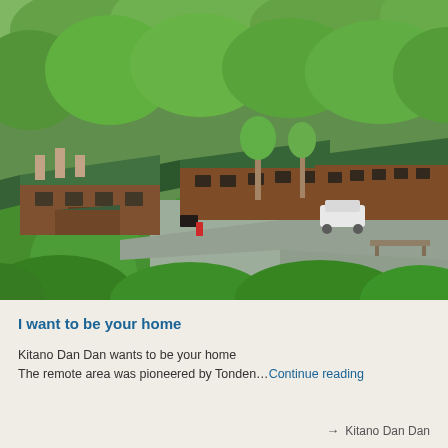[Figure (photo): Aerial view of Kitano Dan Dan lodge/resort buildings with green metal roofs surrounded by lush green forest. Multiple wooden buildings with green-tiled roofs are visible, a parking area with a white car, and dense deciduous tree coverage.]
I want to be your home
Kitano Dan Dan wants to be your home
The remote area was pioneered by Tonden…Continue reading
→ Kitano Dan Dan